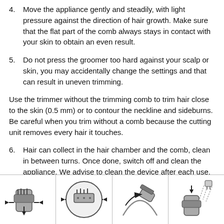4.    Move the appliance gently and steadily, with light pressure against the direction of hair growth. Make sure that the flat part of the comb always stays in contact with your skin to obtain an even result.
5.    Do not press the groomer too hard against your scalp or skin, you may accidentally change the settings and that can result in uneven trimming.
Use the trimmer without the trimming comb to trim hair close to the skin (0.5 mm) or to contour the neckline and sideburns. Be careful when you trim without a comb because the cutting unit removes every hair it touches.
6.    Hair can collect in the hair chamber and the comb, clean in between turns. Once done, switch off and clean the appliance. We advise to clean the device after each use.
[Figure (illustration): Four instructional illustrations showing hair trimmer usage steps: (1) trimmer with comb attachment and directional arrows, (2) close-up magnified view of trimmer head with directional arrows, (3) trimmer contouring neckline/sideburn area, (4) cleaning the trimmer with water/cleaning tool.]